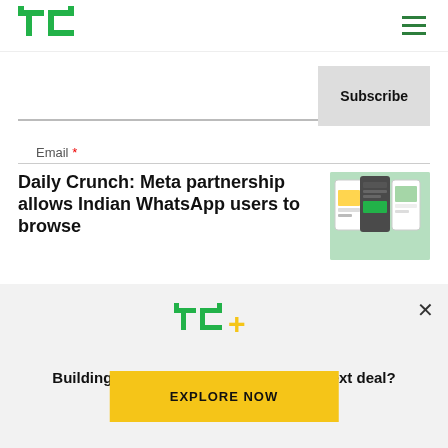TechCrunch logo and navigation menu
Email *
Subscribe
Daily Crunch: Meta partnership allows Indian WhatsApp users to browse
[Figure (screenshot): Phone screens showing WhatsApp interface with product listings]
[Figure (logo): TC+ logo in green and yellow]
Building a startup or looking for your next deal? We have you covered.
EXPLORE NOW